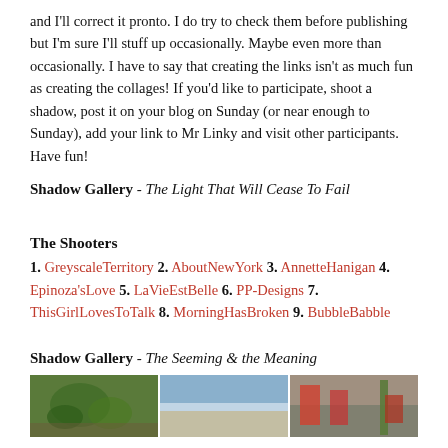and I'll correct it pronto. I do try to check them before publishing but I'm sure I'll stuff up occasionally. Maybe even more than occasionally. I have to say that creating the links isn't as much fun as creating the collages! If you'd like to participate, shoot a shadow, post it on your blog on Sunday (or near enough to Sunday), add your link to Mr Linky and visit other participants. Have fun!
Shadow Gallery - The Light That Will Cease To Fail
The Shooters
1. GreyscaleTerritory 2. AboutNewYork 3. AnnetteHanigan 4. Epinoza'sLove 5. LaVieEstBelle 6. PP-Designs 7. ThisGirlLovesToTalk 8. MorningHasBroken 9. BubbleBabble
Shadow Gallery - The Seeming & the Meaning
[Figure (photo): Three photos in a row showing nature/outdoor scenes: a plant leaf, a beach/ocean scene, and a street with cars and a palm tree.]